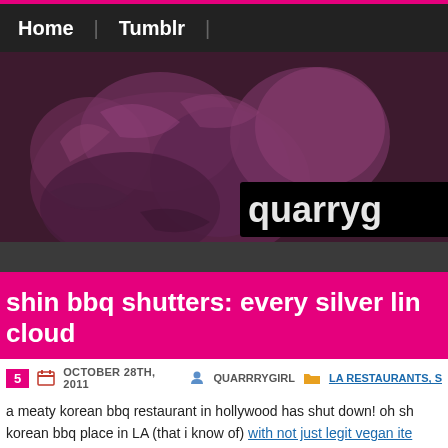Home | Tumblr
[Figure (photo): Blog banner showing a fluffy dog in pink/purple tinted photo with 'quarryg' text overlay and 'me' text, on dark background]
shin bbq shutters: every silver lin cloud
5
OCTOBER 28TH, 2011   QUARRRYGIRL   LA RESTAURANTS, S
a meaty korean bbq restaurant in hollywood has shut down! oh sh korean bbq place in LA (that i know of) with not just legit vegan ite